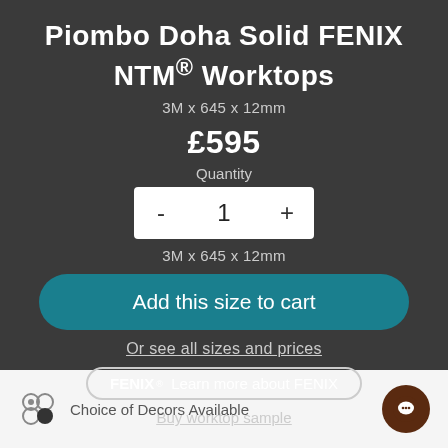Piombo Doha Solid FENIX NTM® Worktops
3M x 645 x 12mm
£595
Quantity
- 1 +
3M x 645 x 12mm
Add this size to cart
Or see all sizes and prices
FENIX® Learn more about FENIX
Buy worktop sample
Choice of Decors Available